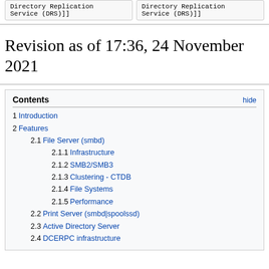Directory Replication Service (DRS))]
Directory Replication Service (DRS)]]
Revision as of 17:36, 24 November 2021
Contents hide
1 Introduction
2 Features
2.1 File Server (smbd)
2.1.1 Infrastructure
2.1.2 SMB2/SMB3
2.1.3 Clustering - CTDB
2.1.4 File Systems
2.1.5 Performance
2.2 Print Server (smbd|spoolssd)
2.3 Active Directory Server
2.4 DCERPC infrastructure